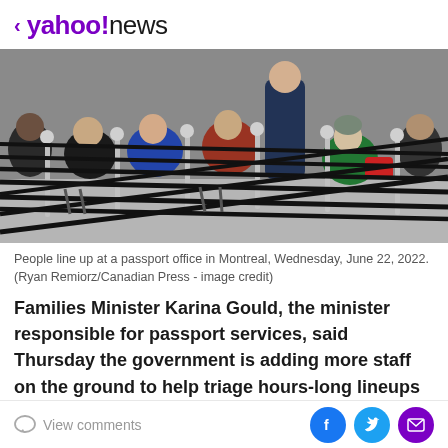< yahoo!news
[Figure (photo): People waiting in a queue at a passport office, seated in chairs surrounded by retractable belt barriers, outdoors in Montreal.]
People line up at a passport office in Montreal, Wednesday, June 22, 2022. (Ryan Remiorz/Canadian Press - image credit)
Families Minister Karina Gould, the minister responsible for passport services, said Thursday the government is adding more staff on the ground to help triage hours-long lineups at many passport offices as tens of thousands of
View comments